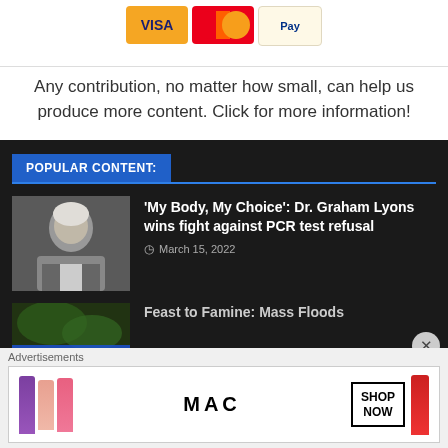[Figure (illustration): Payment icons: Visa (orange background), Mastercard (red-orange circles), and a third payment option (light yellow)]
Any contribution, no matter how small, can help us produce more content. Click for more information!
POPULAR CONTENT:
[Figure (photo): Portrait of Dr. Graham Lyons, an older man with white hair]
'My Body, My Choice': Dr. Graham Lyons wins fight against PCR test refusal
March 15, 2022
[Figure (photo): Partially visible image with text overlay: 2030 AND AGENDA 30]
Feast to Famine: Mass Floods...
Advertisements
[Figure (illustration): MAC cosmetics advertisement with colorful lipsticks and SHOP NOW button]